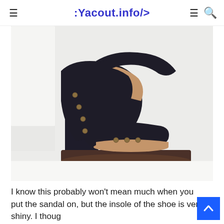:Yacout.info/>
[Figure (photo): A black platform wedge sandal with wide cross-strap upper and studded details on a wooden-look dark platform/wedge sole, shown against a white background with a white cube prop.]
I know this probably won’t mean much when you put the sandal on, but the insole of the shoe is very shiny. I thoug